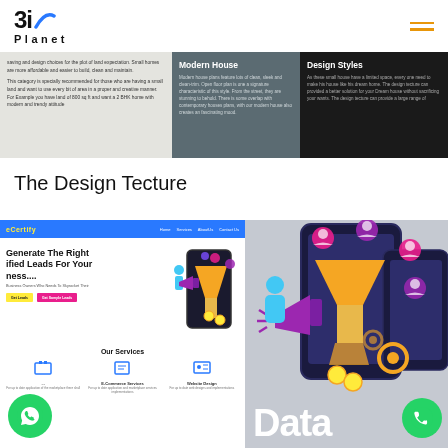3i Planet
[Figure (screenshot): Three-column banner strip: left column with small text on light grey background, middle column 'Modern House' on teal/dark background, right column 'Design Styles' on black background]
The Design Tecture
[Figure (screenshot): Left panel: Certify website screenshot showing 'Generate The Right Qualified Leads For Your Business....' hero section with funnel graphic, CTA buttons, and Our Services section. WhatsApp green button bottom left. Right panel: digital marketing illustration with phone, funnel, user icons, megaphone, and large white 'Data' text. Phone call green button bottom right.]